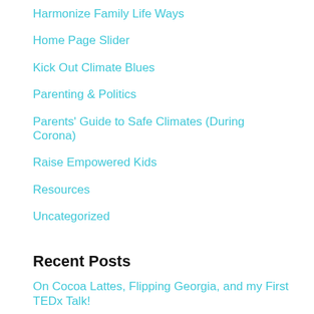Harmonize Family Life Ways
Home Page Slider
Kick Out Climate Blues
Parenting & Politics
Parents' Guide to Safe Climates (During Corona)
Raise Empowered Kids
Resources
Uncategorized
Recent Posts
On Cocoa Lattes, Flipping Georgia, and my First TEDx Talk!